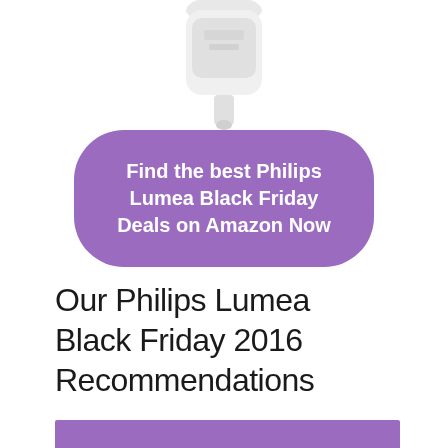[Figure (photo): Partial product image of a white Philips Lumea device shown at the top of the page, cropped at the bottom]
Find the best Philips Lumea Black Friday Deals on Amazon Now
Our Philips Lumea Black Friday 2016 Recommendations
[Figure (other): Purple/violet horizontal bar at the bottom of the page, partially visible]